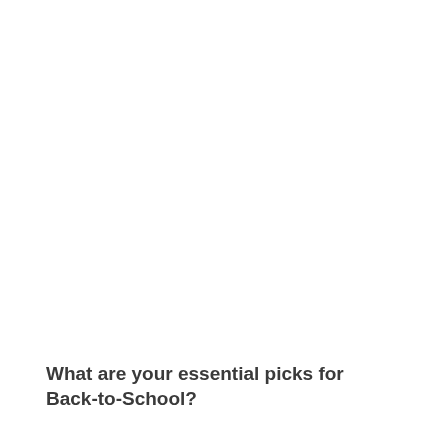What are your essential picks for Back-to-School?